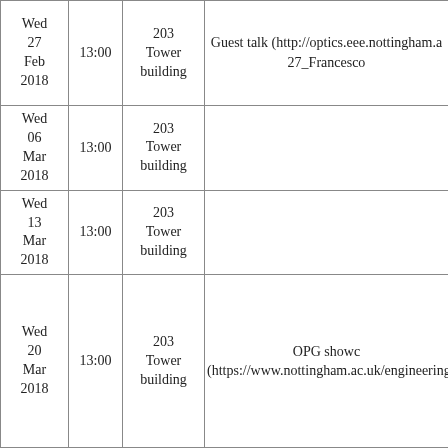| Date | Time | Location | Event |
| --- | --- | --- | --- |
| Wed 27 Feb 2018 | 13:00 | 203 Tower building | Guest talk (http://optics.eee.nottingham.a... 27_Francesco |
| Wed 06 Mar 2018 | 13:00 | 203 Tower building |  |
| Wed 13 Mar 2018 | 13:00 | 203 Tower building |  |
| Wed 20 Mar 2018 | 13:00 | 203 Tower building | OPG showc... (https://www.nottingham.ac.uk/engineering/n... |